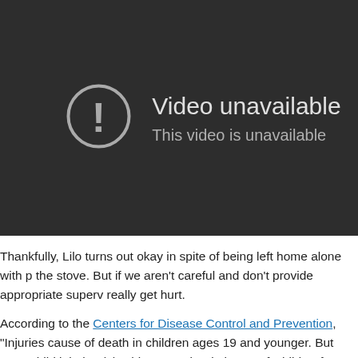[Figure (screenshot): YouTube-style video unavailable placeholder. Dark background with a circular exclamation mark icon on the left and text 'Video unavailable' and 'This video is unavailable' on the right.]
Thankfully, Lilo turns out okay in spite of being left home alone with p the stove. But if we aren't careful and don't provide appropriate superv really get hurt.
According to the Centers for Disease Control and Prevention, "Injuries cause of death in children ages 19 and younger. But most child injuries (3). This November in honor of Child Safety and Protection Month, take how you can help your children stay safe, whether at home or on the g